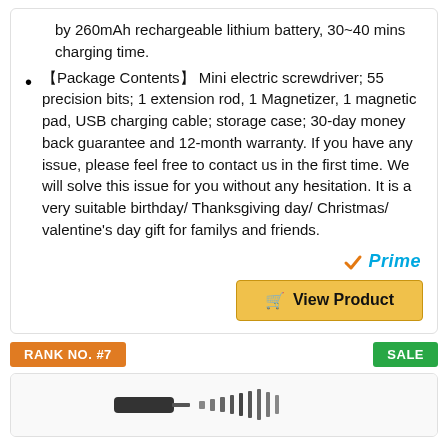by 260mAh rechargeable lithium battery, 30~40 mins charging time.
【Package Contents】 Mini electric screwdriver; 55 precision bits; 1 extension rod, 1 Magnetizer, 1 magnetic pad, USB charging cable; storage case; 30-day money back guarantee and 12-month warranty. If you have any issue, please feel free to contact us in the first time. We will solve this issue for you without any hesitation. It is a very suitable birthday/ Thanksgiving day/ Christmas/ valentine's day gift for familys and friends.
[Figure (logo): Amazon Prime logo with orange checkmark and blue italic Prime text]
View Product
RANK NO. #7
SALE
[Figure (photo): Product photo of a mini electric screwdriver set with precision bits]